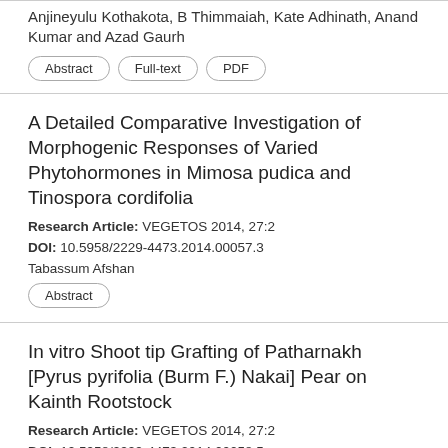Anjineyulu Kothakota, B Thimmaiah, Kate Adhinath, Anand Kumar and Azad Gaurh
Abstract
Full-text
PDF
A Detailed Comparative Investigation of Morphogenic Responses of Varied Phytohormones in Mimosa pudica and Tinospora cordifolia
Research Article: VEGETOS 2014, 27:2
DOI: 10.5958/2229-4473.2014.00057.3
Tabassum Afshan
Abstract
In vitro Shoot tip Grafting of Patharnakh [Pyrus pyrifolia (Burm F.) Nakai] Pear on Kainth Rootstock
Research Article: VEGETOS 2014, 27:2
DOI: 10.5958/2229-4473.2014.00058.5
Haseeb Ur Rehman and Manav Inder Singh Gill
Abstract
Full-text
PDF